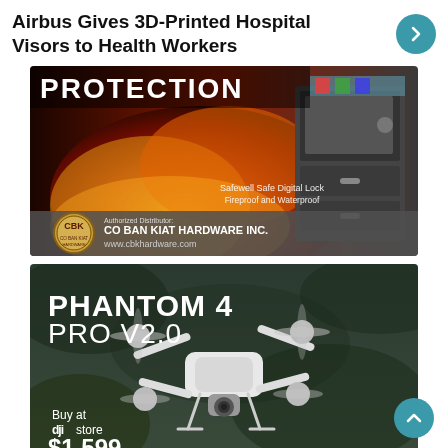Airbus Gives 3D-Printed Hospital Visors to Health Workers
[Figure (photo): Fire protection advertisement with a safe and flames. CBK (Co Ban Kiat Hardware Inc.) authorized distributor ad showing Safewell Safe Digital Lock, Fireproof and Waterproof. Website: www.cbkhardware.com]
[Figure (photo): DJI Phantom 4 PRO V2.0 drone advertisement. White drone flying against a dark background. Buy at DJI store for $1,599.]